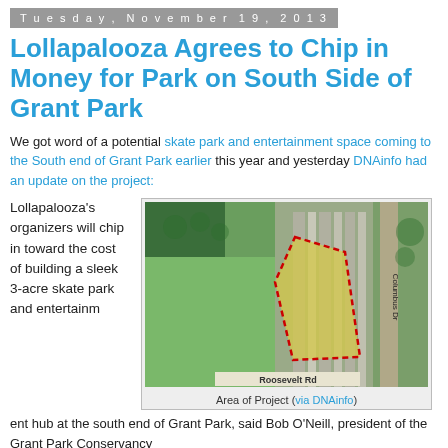Tuesday, November 19, 2013
Lollapalooza Agrees to Chip in Money for Park on South Side of Grant Park
We got word of a potential skate park and entertainment space coming to the South end of Grant Park earlier this year and yesterday DNAinfo had an update on the project:
Lollapalooza's organizers will chip in toward the cost of building a sleek 3-acre skate park and entertainment hub at the south end of Grant Park, said Bob O'Neill, president of the Grant Park Conservancy
[Figure (photo): Aerial satellite map showing the area of the proposed project near Roosevelt Rd and Columbus Dr in Grant Park, Chicago. A yellow-highlighted parcel is outlined in red dashed lines.]
Area of Project (via DNAinfo)